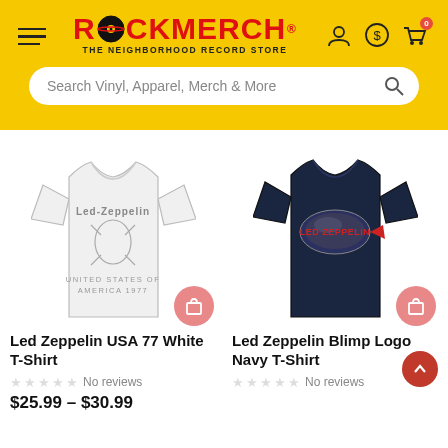ROCKMERCH - THE NEIGHBORHOOD RECORD STORE
Search Vinyl, Apparel, Merch & More
[Figure (photo): White Led Zeppelin USA 77 T-Shirt with angel/icarus graphic]
Led Zeppelin USA 77 White T-Shirt
No reviews
$25.99 – $30.99
[Figure (photo): Navy Led Zeppelin Blimp Logo T-Shirt with blimp graphic]
Led Zeppelin Blimp Logo Navy T-Shirt
No reviews